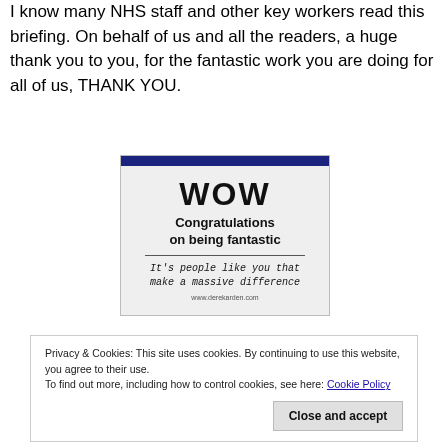I know many NHS staff and other key workers read this briefing. On behalf of us and all the readers, a huge thank you to you, for the fantastic work you are doing for all of us, THANK YOU.
[Figure (illustration): WOW card reading: WOW / Congratulations on being fantastic / It's people like you that make a massive difference / www.derekarden.com]
Privacy & Cookies: This site uses cookies. By continuing to use this website, you agree to their use.
To find out more, including how to control cookies, see here: Cookie Policy
Close and accept